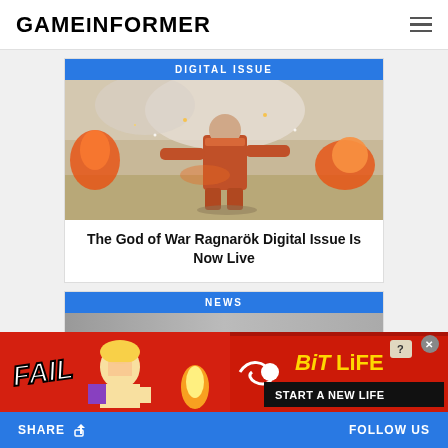GAMEiNFORMER
DIGITAL ISSUE
[Figure (photo): Screenshot from God of War Ragnarök showing Kratos in combat amid fire and destruction in a desert-like environment]
The God of War Ragnarök Digital Issue Is Now Live
NEWS
[Figure (photo): BitLife advertisement banner with 'FAIL' text, animated character, flame, snake/sperm logo, and 'START A NEW LIFE' tagline on red background]
SHARE   FOLLOW US